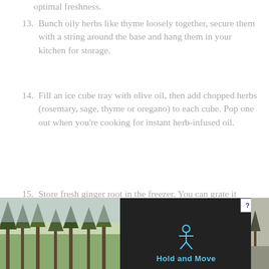optimal freshness.
13. Bunch oily herbs like thyme loosely together, secure them with a string around the base and hang them in your kitchen for storage.
14. Fill an ice cube tray with olive oil, then add chopped herbs (rosemary, sage, thyme or oregano) to each cube. Pop one out when you're cooking for instant herb-infused oil.
15. Store fresh ginger root in the freezer. You can grate it frozen (peel and all) when cooking.
[Figure (screenshot): Advertisement banner at bottom of page showing 'Hold and Move' app/game with trees background and dark center panel with person icon, flanked by close and help buttons]